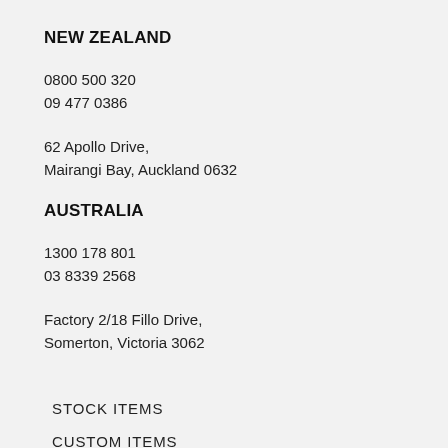NEW ZEALAND
0800 500 320
09 477 0386
62 Apollo Drive,
Mairangi Bay, Auckland 0632
AUSTRALIA
1300 178 801
03 8339 2568
Factory 2/18 Fillo Drive,
Somerton, Victoria 3062
STOCK ITEMS
CUSTOM ITEMS